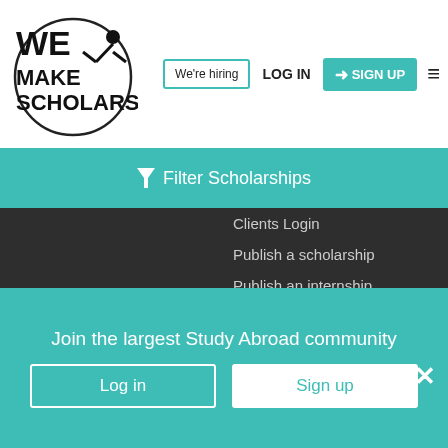[Figure (logo): WeMakeScholars logo with circle and person silhouette]
We're hiring | LOG IN | SIGN UP
Filter Scholarships
Clients Login
Publish a scholarship
Publish an internship
ScholarMag Magazine
International Campus Delegate Program
Report a error
WeMakeScholars
WeMakeScholars is a Not-just-for-Profit organization and India's
Join the largest Study Abroad community
Log in
Sign up